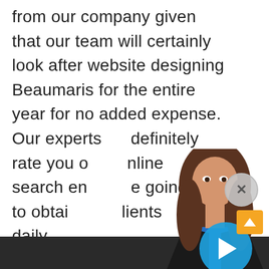from our company given that our team will certainly look after website designing Beaumaris for the entire year for no added expense. Our experts will definitely rate you on online search engines going to obtain clients daily
[Figure (screenshot): A woman with long brown hair wearing a black blazer and blue top, appearing as a video chat widget overlay. A blue circular play button is centered over the image. A grey close (X) button appears to the upper right. An orange scroll-to-top arrow button appears at bottom right.]